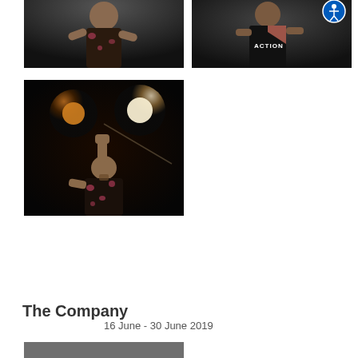[Figure (photo): Person in floral shirt gesturing on stage, dark background]
[Figure (photo): Person in black ACTION t-shirt on stage with accessibility icon overlay in top right corner]
[Figure (photo): Person in floral shirt raising fist under stage spotlights]
The Company
16 June - 30 June 2019
[Figure (photo): Partially visible bottom photo strip]